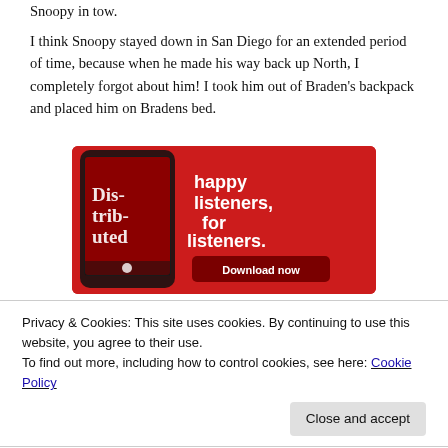Snoopy in tow.
I think Snoopy stayed down in San Diego for an extended period of time, because when he made his way back up North, I completely forgot about him! I took him out of Braden’s backpack and placed him on Bradens bed.
[Figure (photo): Advertisement banner on red background showing a smartphone displaying a podcast app with text 'Dis-tri-bu-ted' and the text 'happy listeners, for listeners.' with a 'Download now' button.]
Privacy & Cookies: This site uses cookies. By continuing to use this website, you agree to their use.
To find out more, including how to control cookies, see here: Cookie Policy
Later that night Braden held Snoopy up to me and